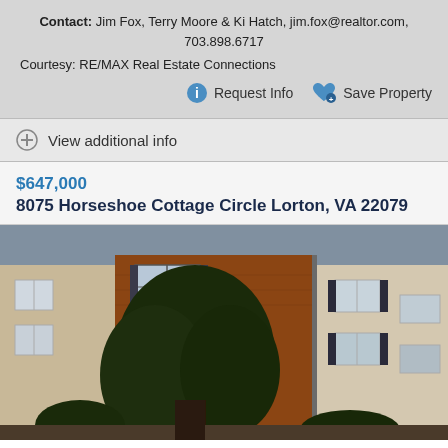Contact: Jim Fox, Terry Moore & Ki Hatch, jim.fox@realtor.com, 703.898.6717
Courtesy: RE/MAX Real Estate Connections
Request Info    Save Property
View additional info
$647,000
8075 Horseshoe Cottage Circle Lorton, VA 22079
[Figure (photo): Exterior photo of a brick and siding townhouse at 8075 Horseshoe Cottage Circle Lorton VA with a large tree in the foreground]